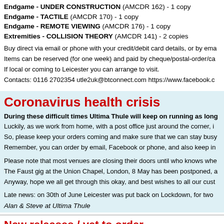Endgame - UNDER CONSTRUCTION (AMCDR 162) - 1 copy
Endgame - TACTILE (AMCDR 170) - 1 copy
Endgame - REMOTE VIEWING (AMCDR 176) - 1 copy
Extremities - COLLISION THEORY (AMCDR 141) - 2 copies
Buy direct via email or phone with your credit/debit card details, or by ema... Items can be reserved (for one week) and paid by cheque/postal-order/ca... If local or coming to Leicester you can arrange to visit. Contacts: 0116 2702354 utle2uk@btconnect.com https://www.facebook.c...
Coronavirus health crisis
During these difficult times Ultima Thule will keep on running as long as we can. Luckily, as we work from home, with a post office just around the corner, it... So, please keep your orders coming and make sure that we can stay busy... Remember, you can order by email, Facebook or phone, and also keep in...
Please note that most venues are closing their doors until who knows whe... The Faust gig at the Union Chapel, London, 8 May has been postponed, a... Anyway, hope we all get through this okay, and best wishes to all our cust...
Late news: on 30th of June Leicester was put back on Lockdown, for two...
Alan & Steve at Ultima Thule
New releases / yet to order...
Caspar Brotzmann Massaker - THE TRIBE and BLACK AXIS - now re-i...